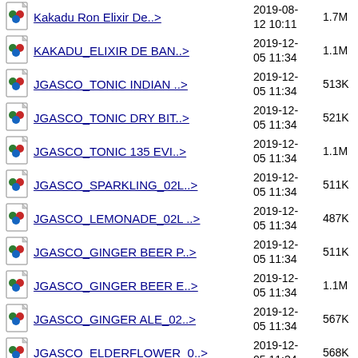Kakadu Ron Elixir De..>  2019-08-12 10:11  1.7M
KAKADU_ELIXIR DE BAN..>  2019-12-05 11:34  1.1M
JGASCO_TONIC INDIAN ..>  2019-12-05 11:34  513K
JGASCO_TONIC DRY BIT..>  2019-12-05 11:34  521K
JGASCO_TONIC 135 EVI..>  2019-12-05 11:34  1.1M
JGASCO_SPARKLING_02L..>  2019-12-05 11:34  511K
JGASCO_LEMONADE_02L ..>  2019-12-05 11:34  487K
JGASCO_GINGER BEER P..>  2019-12-05 11:34  511K
JGASCO_GINGER BEER E..>  2019-12-05 11:34  1.1M
JGASCO_GINGER ALE_02..>  2019-12-05 11:34  567K
JGASCO_ELDERFLOWER_0..>  2019-12-05 11:34  568K
JGASCO_COLA_02L_LAHE..>  2019-12-  542K